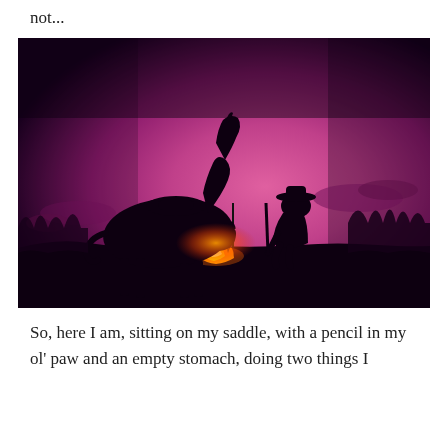not...
[Figure (photo): Silhouette of a cowboy and his horse beside a campfire against a deep purple-pink sunset sky. The cowboy kneels holding a stick next to a hanging pot over the fire, with trees visible in the background.]
So, here I am, sitting on my saddle, with a pencil in my ol' paw and an empty stomach, doing two things I